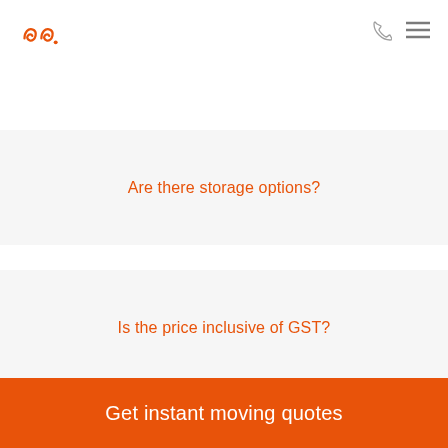Logo navigation header
Are there storage options?
Is the price inclusive of GST?
What time will the removalists arrive?
Get instant moving quotes